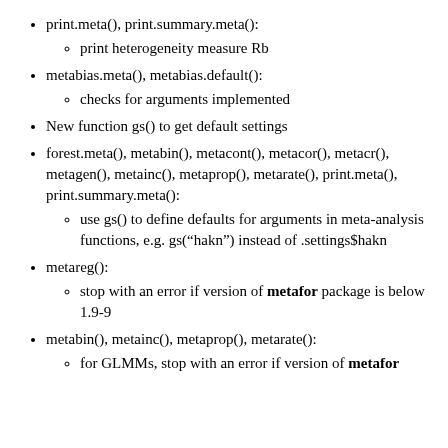print.meta(), print.summary.meta():
print heterogeneity measure Rb
metabias.meta(), metabias.default():
checks for arguments implemented
New function gs() to get default settings
forest.meta(), metabin(), metacont(), metacor(), metacr(), metagen(), metainc(), metaprop(), metarate(), print.meta(), print.summary.meta():
use gs() to define defaults for arguments in meta-analysis functions, e.g. gs(“hakn”) instead of .settings$hakn
metareg():
stop with an error if version of metafor package is below 1.9-9
metabin(), metainc(), metaprop(), metarate():
for GLMMs, stop with an error if version of metafor